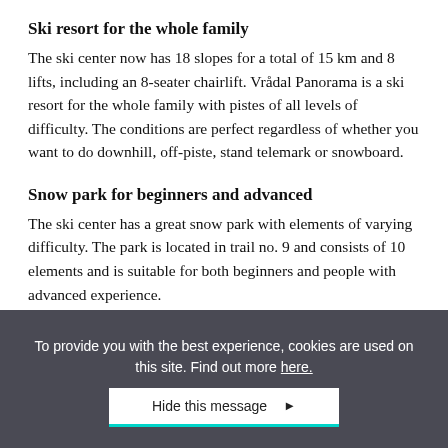Ski resort for the whole family
The ski center now has 18 slopes for a total of 15 km and 8 lifts, including an 8-seater chairlift. Vrådal Panorama is a ski resort for the whole family with pistes of all levels of difficulty. The conditions are perfect regardless of whether you want to do downhill, off-piste, stand telemark or snowboard.
Snow park for beginners and advanced
The ski center has a great snow park with elements of varying difficulty. The park is located in trail no. 9 and consists of 10 elements and is suitable for both beginners and people with advanced experience.
The park offers:
To provide you with the best experience, cookies are used on this site. Find out more here.
Hide this message ▶